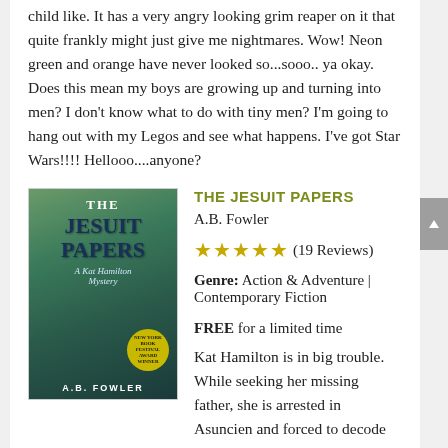child like. It has a very angry looking grim reaper on it that quite frankly might just give me nightmares. Wow! Neon green and orange have never looked so...sooo.. ya okay. Does this mean my boys are growing up and turning into men? I don't know what to do with tiny men? I'm going to hang out with my Legos and see what happens. I've got Star Wars!!!! Hellooo....anyone?
[Figure (illustration): Book cover for 'The Jesuit Papers' by A.B. Fowler, showing a river scene with trees and a treasure chest, with a New York Book Festival award badge]
THE JESUIT PAPERS
A.B. Fowler
★★★★★ (19 Reviews)
Genre: Action & Adventure | Contemporary Fiction
FREE for a limited time
Kat Hamilton is in big trouble. While seeking her missing father, she is arrested in Asuncien and forced to decode a mysterious Jesuit journal in order to continue her